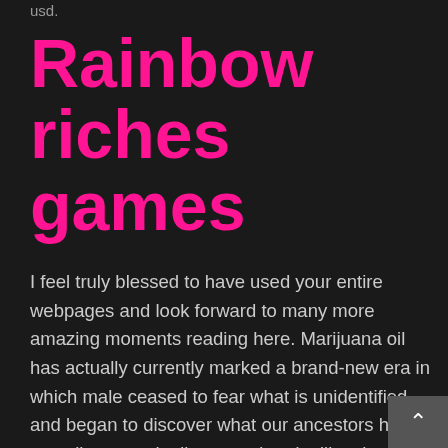usd.
Rainbow riches games
I feel truly blessed to have used your entire webpages and look forward to many more amazing moments reading here. Marijuana oil has actually currently marked a brand-new era in which male ceased to fear what is unidentified, and began to discover what our ancestors had actually currently discovered and utilize the substantial potential, initially look, a little unusual relationships, associated generally with pathology. Late 20s dating bikini dating games for seniors.